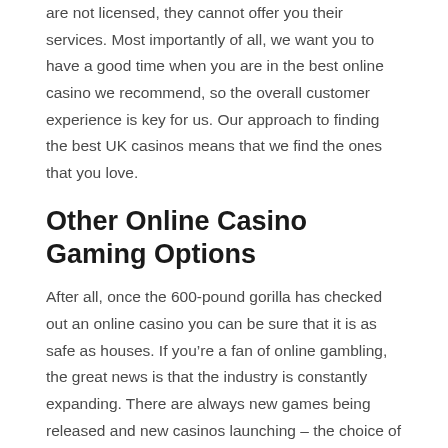are not licensed, they cannot offer you their services. Most importantly of all, we want you to have a good time when you are in the best online casino we recommend, so the overall customer experience is key for us. Our approach to finding the best UK casinos means that we find the ones that you love.
Other Online Casino Gaming Options
After all, once the 600-pound gorilla has checked out an online casino you can be sure that it is as safe as houses. If you're a fan of online gambling, the great news is that the industry is constantly expanding. There are always new games being released and new casinos launching – the choice of what to play